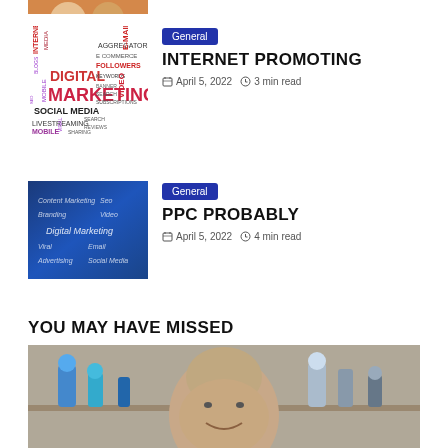[Figure (photo): Partially visible image at top of page (cropped animal/mascot photo)]
[Figure (illustration): Word cloud image with digital marketing terms: INTERNET, DIGITAL, MARKETING, SOCIAL MEDIA, E-MAIL, AGGREGATORS, COMMERCE, FOLLOWERS, KEYWORDS, BANNER, SEARCH, SUBSCRIPTIONS, MOBILE, SEO, VIDEO, VIRAL, LIVESTREAMING, MOBILE, SHARING, APPS]
General
INTERNET PROMOTING
April 5, 2022   3 min read
[Figure (photo): Dark blue background with digital marketing handwriting terms: Content Marketing, Seo, Branding, Video, Digital Marketing, Viral, Advertising, Social Media, Email]
General
PPC PROBABLY
April 5, 2022   4 min read
YOU MAY HAVE MISSED
[Figure (photo): Photo of a bald man smiling surrounded by figurines/collectibles on shelves]